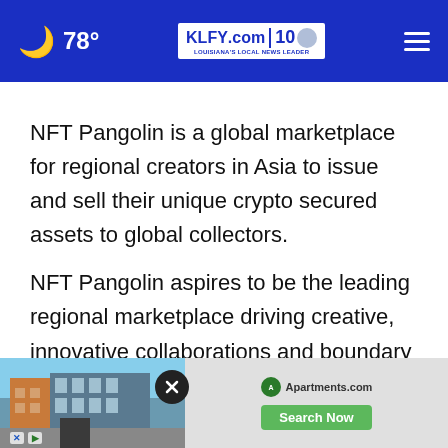🌙 78° | KLFY.com | 10
NFT Pangolin is a global marketplace for regional creators in Asia to issue and sell their unique crypto secured assets to global collectors.
NFT Pangolin aspires to be the leading regional marketplace driving creative, innovative collaborations and boundary pushing campaigns in the NFT space globally for issuers and collectors. We believe in making a difference for those in need by funding social causes and
[Figure (screenshot): Advertisement overlay showing apartment building image and Apartments.com Search Now button with close X button]